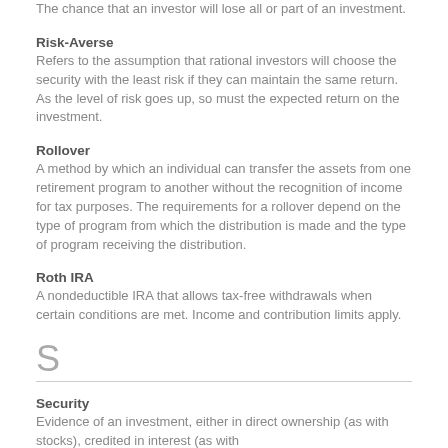The chance that an investor will lose all or part of an investment.
Risk-Averse
Refers to the assumption that rational investors will choose the security with the least risk if they can maintain the same return. As the level of risk goes up, so must the expected return on the investment.
Rollover
A method by which an individual can transfer the assets from one retirement program to another without the recognition of income for tax purposes. The requirements for a rollover depend on the type of program from which the distribution is made and the type of program receiving the distribution.
Roth IRA
A nondeductible IRA that allows tax-free withdrawals when certain conditions are met. Income and contribution limits apply.
S
Security
Evidence of an investment, either in direct ownership (as with stocks), credited interest (as with